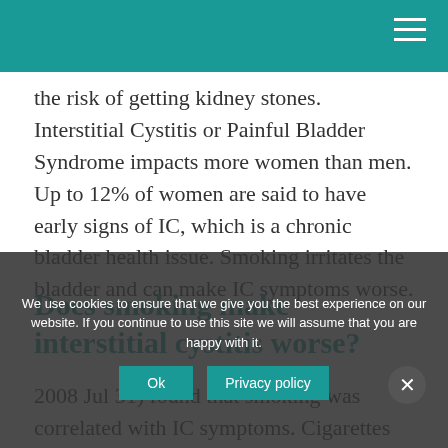the risk of getting kidney stones. Interstitial Cystitis or Painful Bladder Syndrome impacts more women than men. Up to 12% of women are said to have early signs of IC, which is a chronic bladder health issue. Smoking irritates the bladder and can make IC symptoms worse.
Does smoking make interstitial cystitis worse?
2008 Jul 31) found that smoking was correlated with IC symptoms. Cigarettes irritate the bladder and may worsen IC